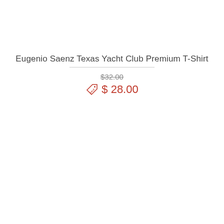Eugenio Saenz Texas Yacht Club Premium T-Shirt
$32.00 (strikethrough original price)
$ 28.00 (sale price with sale tag icon)